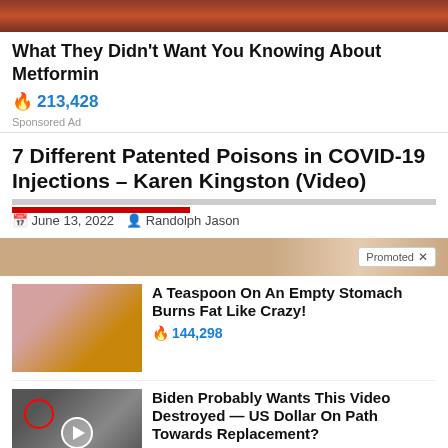[Figure (photo): Top image strip showing reddish-brown food or medical content]
What They Didn't Want You Knowing About Metformin
🔥 213,428
Sponsored Ad
7 Different Patented Poisons in COVID-19 Injections – Karen Kingston (Video)
June 13, 2022   Randolph Jason
[Figure (photo): Promoted content bar with skin-tone background]
[Figure (photo): A Teaspoon On An Empty Stomach Burns Fat Like Crazy! - thumbnail showing person and spice]
A Teaspoon On An Empty Stomach Burns Fat Like Crazy!
🔥 144,298
[Figure (photo): Biden Probably Wants This Video Destroyed — US Dollar On Path Towards Replacement? - group photo thumbnail]
Biden Probably Wants This Video Destroyed — US Dollar On Path Towards Replacement?
🔥 611,178